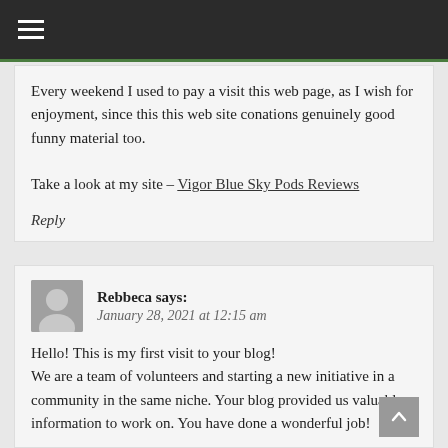≡
Every weekend I used to pay a visit this web page, as I wish for enjoyment, since this this web site conations genuinely good funny material too.

Take a look at my site – Vigor Blue Sky Pods Reviews
Reply
Rebbeca says:
January 28, 2021 at 12:15 am
Hello! This is my first visit to your blog!
We are a team of volunteers and starting a new initiative in a community in the same niche. Your blog provided us valuable information to work on. You have done a wonderful job!
Reply